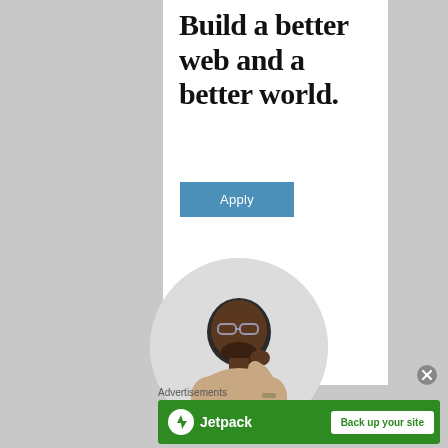Build a better web and a better world.
Apply
[Figure (photo): A man wearing glasses and a beige t-shirt, smiling and looking upward with hand near chin, shown in a circular crop against a light background.]
Advertisements
[Figure (logo): Jetpack advertisement banner with green background, Jetpack logo (lightning bolt icon) on left and 'Back up your site' white button on right.]